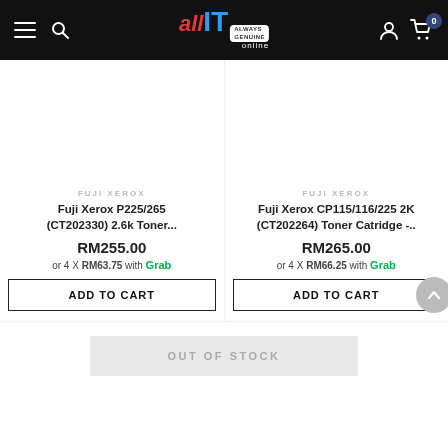[Figure (screenshot): allIT online e-commerce website header with hamburger menu, search icon, logo, user icon, and cart icon with badge showing 0]
FUJI XEROX
Fuji Xerox P225/265 (CT202330) 2.6k Toner...
RM255.00
or 4 X RM63.75 with Grab
ADD TO CART
FUJI XEROX
Fuji Xerox CP115/116/225 2K (CT202264) Toner Catridge -..
RM265.00
or 4 X RM66.25 with Grab
ADD TO CART
OUT OF STOCK